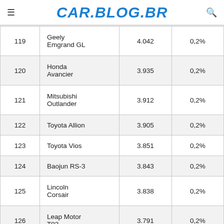CAR.BLOG.BR
| # | Model | Sales | Share |
| --- | --- | --- | --- |
| 119 | Geely Emgrand GL | 4.042 | 0,2% |
| 120 | Honda Avancier | 3.935 | 0,2% |
| 121 | Mitsubishi Outlander | 3.912 | 0,2% |
| 122 | Toyota Allion | 3.905 | 0,2% |
| 123 | Toyota Vios | 3.851 | 0,2% |
| 124 | Baojun RS-3 | 3.843 | 0,2% |
| 125 | Lincoln Corsair | 3.838 | 0,2% |
| 126 | Leap Motor T03 | 3.791 | 0,2% |
| 127 | Weli... |  |  |